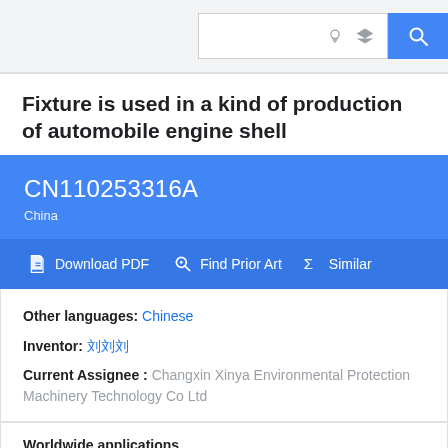Search bar with icons and search button
Fixture is used in a kind of production of automobile engine shell
CN110253316A
China
Download PDF | Find Prior Art | Similar
Other languages: Chinese
Inventor: 刘刘刘
Current Assignee : Changxin Xinya Environmental Protection Machinery Technology Co Ltd
Worldwide applications